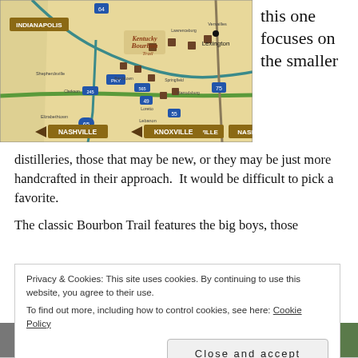[Figure (map): Map of Kentucky Bourbon Trail showing distillery locations between Indianapolis, Lexington, Nashville, and Knoxville with road markers and distillery icons.]
this one focuses on the smaller
distilleries, those that may be new, or they may be just more handcrafted in their approach.  It would be difficult to pick a favorite.
The classic Bourbon Trail features the big boys, those
Privacy & Cookies: This site uses cookies. By continuing to use this website, you agree to their use.
To find out more, including how to control cookies, see here: Cookie Policy
Close and accept
[Figure (photo): Bottom strip showing partial images including what appears to be a Mr. Roland's sign in the center.]